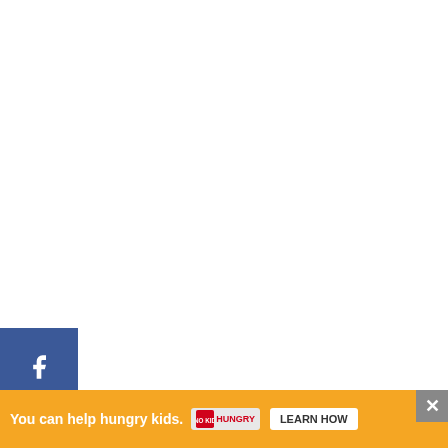[Figure (screenshot): White image/content area at top of webpage, with social sharing sidebar on left (Facebook blue, Twitter blue, Pinterest red buttons), and floating action buttons on right (teal heart icon with count 259, and share icon)]
Be warned, the visit is totally co... in silence, so not for little ones! Expect to
[Figure (screenshot): WHAT'S NEXT arrow banner with circular image of a red London bus and text 'Things to do in London...']
[Figure (screenshot): Ad banner: orange background, 'You can help hungry kids.' with No Kid Hungry logo and LEARN HOW button, X close button]
b... house i...